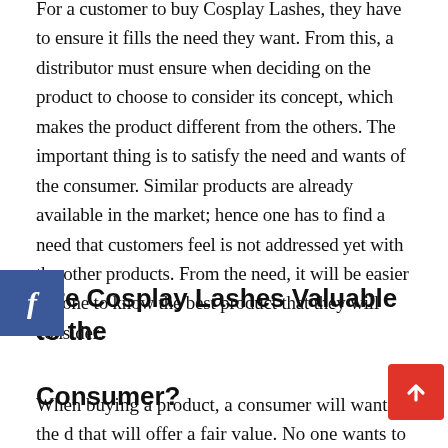For a customer to buy Cosplay Lashes, they have to ensure it fills the need they want. From this, a distributor must ensure when deciding on the product to choose to consider its concept, which makes the product different from the others. The important thing is to satisfy the need and wants of the consumer. Similar products are already available in the market; hence one has to find a need that customers feel is not addressed yet with the other products. From the need, it will be easier for one to know the best product that they will consider.
Are Cosplay Lashes Valuable to the Consumer?
When buying a product, a consumer will want the one that will offer a fair value. No one wants to waste their money on a product that doesn't give value to...